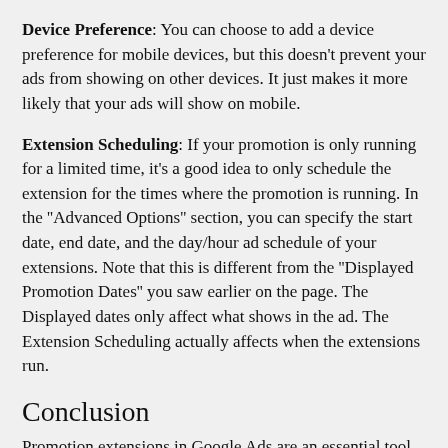Device Preference: You can choose to add a device preference for mobile devices, but this doesn't prevent your ads from showing on other devices. It just makes it more likely that your ads will show on mobile.
Extension Scheduling: If your promotion is only running for a limited time, it's a good idea to only schedule the extension for the times where the promotion is running. In the "Advanced Options" section, you can specify the start date, end date, and the day/hour ad schedule of your extensions. Note that this is different from the "Displayed Promotion Dates" you saw earlier on the page. The Displayed dates only affect what shows in the ad. The Extension Scheduling actually affects when the extensions run.
Conclusion
Promotion extensions in Google Ads are an essential tool for any company that uses both search engine marketing and